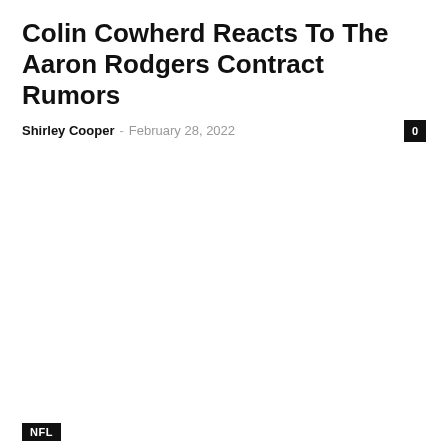Colin Cowherd Reacts To The Aaron Rodgers Contract Rumors
Shirley Cooper – February 28, 2022
NFL
Aaron Rodgers Has 2-Word Response To Report He Wants To Be...
Shirley Cooper – February 27, 2022